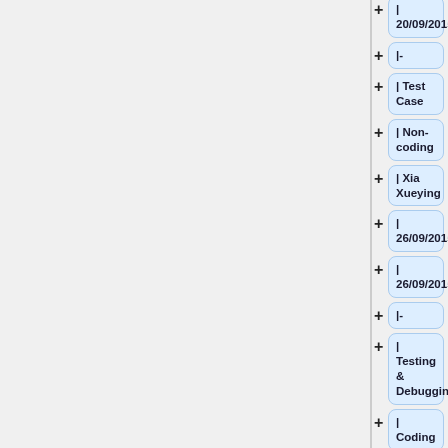| 20/09/2015
|-
| Test Case
| Non-coding
| Xia Xueying
| 26/09/2015
| 26/09/2015
|-
| Testing & Debugging
| Coding
| All Team Members
| 27/09/2015